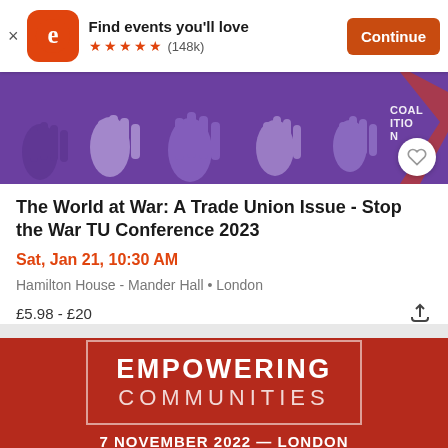Find events you'll love ★★★★★ (148k) Continue
[Figure (screenshot): Event banner image with purple background showing raised hands silhouettes and 'COALITION' text partially visible, with a heart/favorite button]
The World at War: A Trade Union Issue - Stop the War TU Conference 2023
Sat, Jan 21, 10:30 AM
Hamilton House - Mander Hall • London
£5.98 - £20
[Figure (photo): Red background event banner showing 'EMPOWERING COMMUNITIES' in white text with a border box, and '7 NOVEMBER 2022 — LONDON' below]